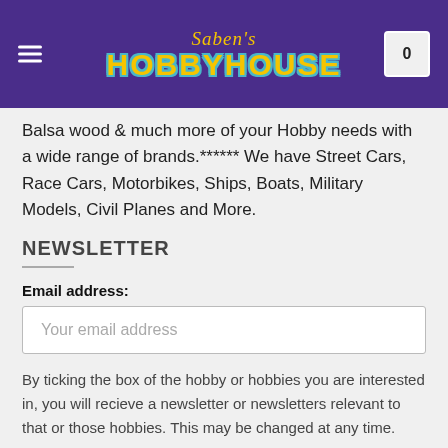Saben's Hobby House
Balsa wood & much more of your Hobby needs with a wide range of brands.****** We have Street Cars, Race Cars, Motorbikes, Ships, Boats, Military Models, Civil Planes and More.
NEWSLETTER
Email address:
Your email address
By ticking the box of the hobby or hobbies you are interested in, you will recieve a newsletter or newsletters relevant to that or those hobbies. This may be changed at any time.
I am interested in:
Diecast Replicas   Kits   Model Rail   Pop Culture